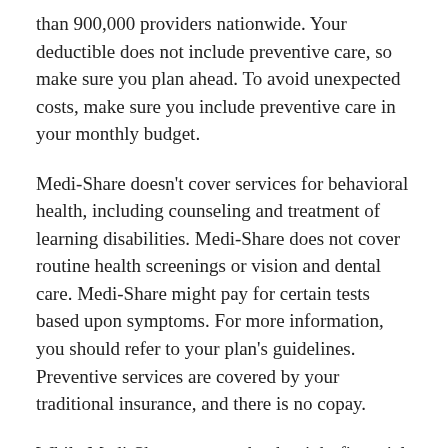than 900,000 providers nationwide. Your deductible does not include preventive care, so make sure you plan ahead. To avoid unexpected costs, make sure you include preventive care in your monthly budget.
Medi-Share doesn't cover services for behavioral health, including counseling and treatment of learning disabilities. Medi-Share does not cover routine health screenings or vision and dental care. Medi-Share might pay for certain tests based upon symptoms. For more information, you should refer to your plan's guidelines. Preventive services are covered by your traditional insurance, and there is no copay.
While Medi-Share may not be the right financial option for everyone, it is an alternative for those